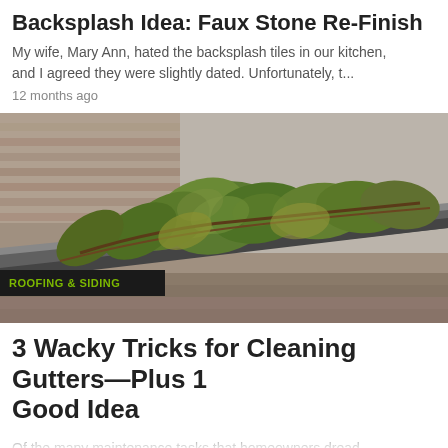Backsplash Idea: Faux Stone Re-Finish
My wife, Mary Ann, hated the backsplash tiles in our kitchen, and I agreed they were slightly dated. Unfortunately, t...
12 months ago
[Figure (photo): Close-up photo of a rain gutter filled with green ivy leaves, with roof shingles visible in the background. A category tag label reads ROOFING & SIDING in green text on a dark background.]
3 Wacky Tricks for Cleaning Gutters—Plus 1 Good Idea
Of the many maintenance tasks that homeowners dread, cleaning the gutters may be the last favorite of all. But lik...